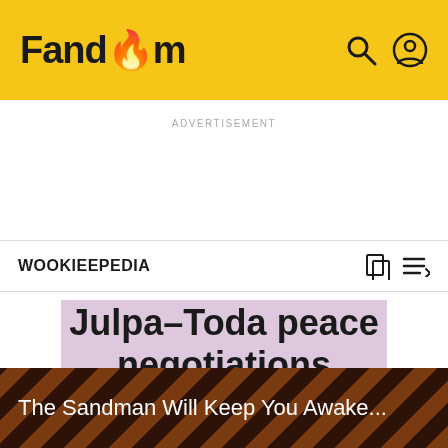Fandom
ADVERTISEMENT
WOOKIEEPEDIA
Julpa-Toda peace negotiations
EDIT
The Sandman Will Keep You Awake...